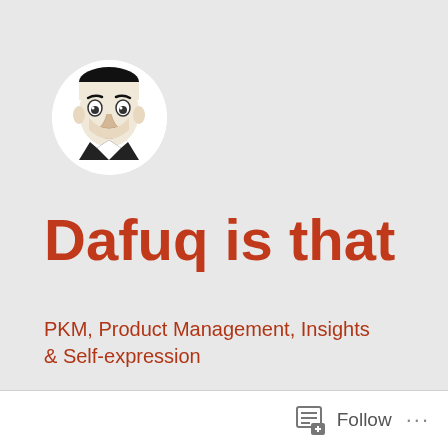[Figure (illustration): Circular avatar with black and white illustration of a mustachioed man looking surprised or confused, on a white circular background]
Dafuq is that
PKM, Product Management, Insights & Self-expression
Follow ...